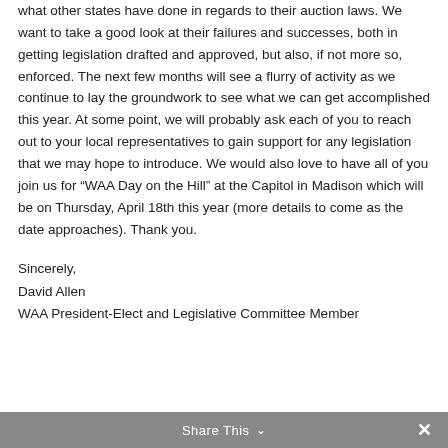what other states have done in regards to their auction laws. We want to take a good look at their failures and successes, both in getting legislation drafted and approved, but also, if not more so, enforced. The next few months will see a flurry of activity as we continue to lay the groundwork to see what we can get accomplished this year. At some point, we will probably ask each of you to reach out to your local representatives to gain support for any legislation that we may hope to introduce. We would also love to have all of you join us for “WAA Day on the Hill” at the Capitol in Madison which will be on Thursday, April 18th this year (more details to come as the date approaches). Thank you.
Sincerely,
David Allen
WAA President-Elect and Legislative Committee Member
Share This